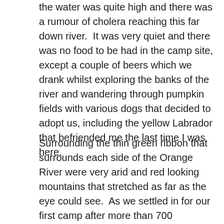the water was quite high and there was a rumour of cholera reaching this far down river.  It was very quiet and there was no food to be had in the camp site, except a couple of beers which we drank whilst exploring the banks of the river and wandering through pumpkin fields with various dogs that decided to adopt us, including the yellow Labrador that befriended me the last time I was here.
Surrounding the thin green ribbon that surrounds each side of the Orange River were very arid and red looking mountains that stretched as far as the eye could see.  As we settled in for our first camp after more than 700 kilometers of riding from Cape Town I could not help but think that we had far too much kit and it took an age to unpack it, sort it out and of course re-pack it the next day.